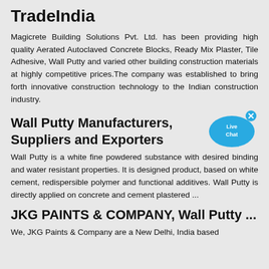TradeIndia
Magicrete Building Solutions Pvt. Ltd. has been providing high quality Aerated Autoclaved Concrete Blocks, Ready Mix Plaster, Tile Adhesive, Wall Putty and varied other building construction materials at highly competitive prices.The company was established to bring forth innovative construction technology to the Indian construction industry.
Wall Putty Manufacturers, Suppliers and Exporters
[Figure (illustration): Live Chat speech bubble icon in blue]
Wall Putty is a white fine powdered substance with desired binding and water resistant properties. It is designed product, based on white cement, redispersible polymer and functional additives. Wall Putty is directly applied on concrete and cement plastered ...
JKG PAINTS & COMPANY, Wall Putty ...
We, JKG Paints & Company are a New Delhi, India based